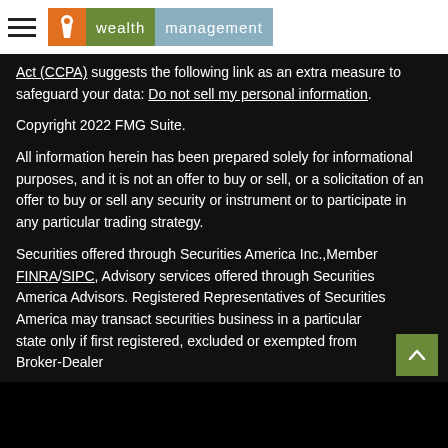wealth management
Act (CCPA) suggests the following link as an extra measure to safeguard your data: Do not sell my personal information.
Copyright 2022 FMG Suite.
All information herein has been prepared solely for informational purposes, and it is not an offer to buy or sell, or a solicitation of an offer to buy or sell any security or instrument or to participate in any particular trading strategy.
Securities offered through Securities America Inc.,Member FINRA/SIPC, Advisory services offered through Securities America Advisors. Registered Representatives of Securities America may transact securities business in a particular state only if first registered, excluded or exempted from Broker-Dealer